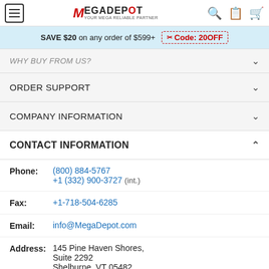MegaDepot - Your Mega Reliable Partner
SAVE $20 on any order of $599+ Code: 20OFF
WHY BUY FROM US?
ORDER SUPPORT
COMPANY INFORMATION
CONTACT INFORMATION
Phone: (800) 884-5767 +1 (332) 900-3727 (int.)
Fax: +1-718-504-6285
Email: info@MegaDepot.com
Address: 145 Pine Haven Shores, Suite 2292 Shelburne, VT 05482
HOURS OF OPERATION